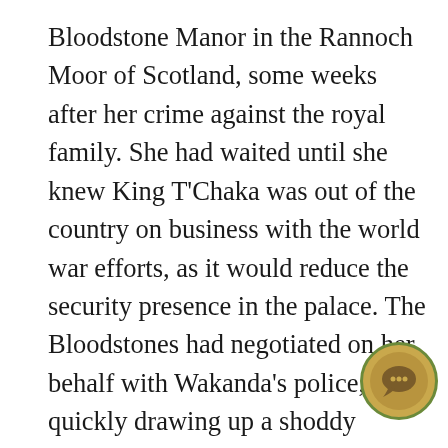Bloodstone Manor in the Rannoch Moor of Scotland, some weeks after her crime against the royal family. She had waited until she knew King T'Chaka was out of the country on business with the world war efforts, as it would reduce the security presence in the palace. The Bloodstones had negotiated on her behalf with Wakanda's police, quickly drawing up a shoddy employment contract to protect her sovereignty, while promising privately that she was free to make her own choices and leave at any time. In the foyer of the manor, Zawadi was introduced to the manor's caretakers, Adam, and Charles Barnabus. Adam handled more of the physical labor, and that was plain to see: he towered over her and spoke firmly with a thick accent she was unfamiliar with, but still his eyes were old, and kind. Barnabus was a soft-spoken man with dark skin and hair like hers, wearing spectacles and a nice fresh suit, the kind she only knew from